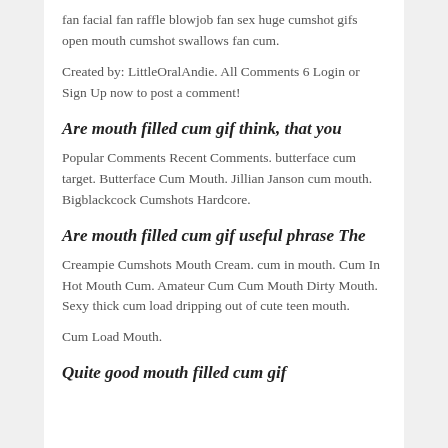fan facial fan raffle blowjob fan sex huge cumshot gifs open mouth cumshot swallows fan cum.
Created by: LittleOralAndie. All Comments 6 Login or Sign Up now to post a comment!
Are mouth filled cum gif think, that you
Popular Comments Recent Comments. butterface cum target. Butterface Cum Mouth. Jillian Janson cum mouth. Bigblackcock Cumshots Hardcore.
Are mouth filled cum gif useful phrase The
Creampie Cumshots Mouth Cream. cum in mouth. Cum In Hot Mouth Cum. Amateur Cum Cum Mouth Dirty Mouth. Sexy thick cum load dripping out of cute teen mouth.
Cum Load Mouth.
Quite good mouth filled cum gif